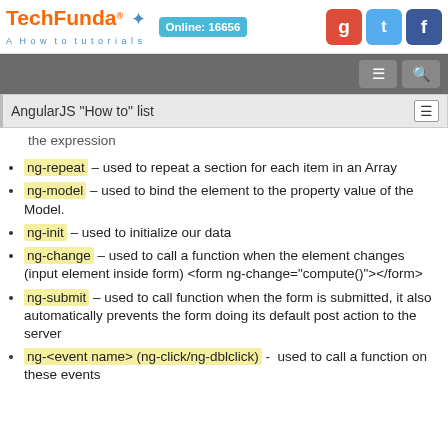TechFunda® A How to tutorials | Online: 16656
the expression
ng-repeat – used to repeat a section for each item in an Array
ng-model – used to bind the element to the property value of the Model.
ng-init – used to initialize our data
ng-change – used to call a function when the element changes (input element inside form) <form ng-change="compute()"></form>
ng-submit – used to call function when the form is submitted, it also automatically prevents the form doing its default post action to the server
ng-<event name> (ng-click/ng-dblclick) -  used to call a function on these events